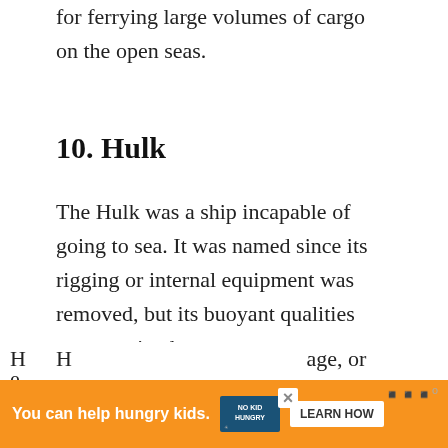for ferrying large volumes of cargo on the open seas.
10. Hulk
The Hulk was a ship incapable of going to sea. It was named since its rigging or internal equipment was removed, but its buoyant qualities were retained.
Hulks had a variety of interesting uses, which included housing, gambling prisons. In the past, they also utilize the
H... age, or e...
[Figure (infographic): Social sharing UI overlay with heart/like button showing count of 1, and a share icon button]
[Figure (infographic): What's Next widget showing boat anchor image with text 'Boat Anchor Types - 7...']
[Figure (infographic): Ad banner: orange background, 'You can help hungry kids.' text, No Kid Hungry logo, Learn How button]